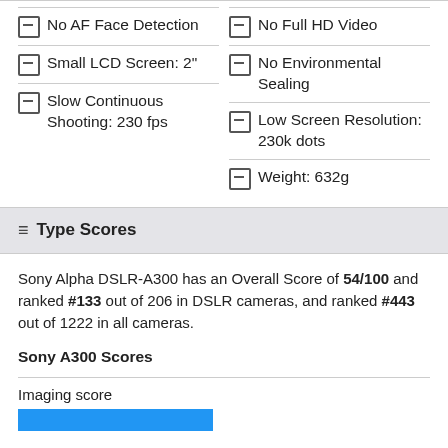No AF Face Detection
Small LCD Screen: 2"
Slow Continuous Shooting: 230 fps
No Full HD Video
No Environmental Sealing
Low Screen Resolution: 230k dots
Weight: 632g
Type Scores
Sony Alpha DSLR-A300 has an Overall Score of 54/100 and ranked #133 out of 206 in DSLR cameras, and ranked #443 out of 1222 in all cameras.
Sony A300 Scores
Imaging score